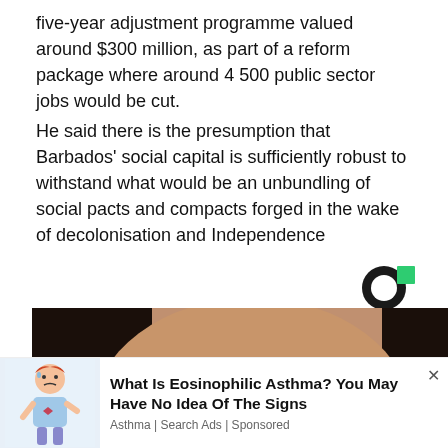five-year adjustment programme valued around $300 million, as part of a reform package where around 4 500 public sector jobs would be cut.
He said there is the presumption that Barbados' social capital is sufficiently robust to withstand what would be an unbundling of social pacts and compacts forged in the wake of decolonisation and Independence
[Figure (logo): Circular logo mark — dark circle with a green square accent in the top right]
[Figure (photo): Close-up photo of a woman with dark hair applying something white near her eye/nose area]
[Figure (illustration): Cartoon illustration of a sick person holding chest]
What Is Eosinophilic Asthma? You May Have No Idea Of The Signs
Asthma | Search Ads | Sponsored